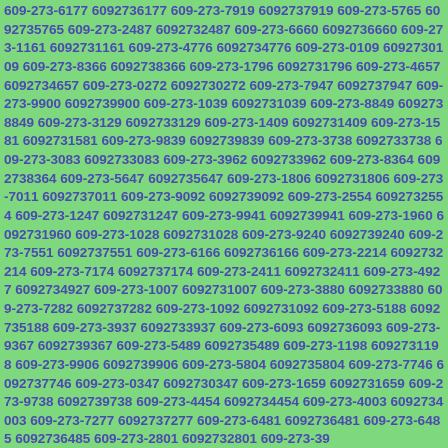609-273-6177 6092736177 609-273-7919 6092737919 609-273-5765 6092735765 609-273-2487 6092732487 609-273-6660 6092736660 609-273-1161 6092731161 609-273-4776 6092734776 609-273-0109 6092730109 609-273-8366 6092738366 609-273-1796 6092731796 609-273-4657 6092734657 609-273-0272 6092730272 609-273-7947 6092737947 609-273-9900 6092739900 609-273-1039 6092731039 609-273-8849 6092738849 609-273-3129 6092733129 609-273-1409 6092731409 609-273-1581 6092731581 609-273-9839 6092739839 609-273-3738 6092733738 609-273-3083 6092733083 609-273-3962 6092733962 609-273-8364 6092738364 609-273-5647 6092735647 609-273-1806 6092731806 609-273-7011 6092737011 609-273-9092 6092739092 609-273-2554 6092732554 609-273-1247 6092731247 609-273-9941 6092739941 609-273-1960 6092731960 609-273-1028 6092731028 609-273-9240 6092739240 609-273-7551 6092737551 609-273-6166 6092736166 609-273-2214 6092732214 609-273-7174 6092737174 609-273-2411 6092732411 609-273-4927 6092734927 609-273-1007 6092731007 609-273-3880 6092733880 609-273-7282 6092737282 609-273-1092 6092731092 609-273-5188 6092735188 609-273-3937 6092733937 609-273-6093 6092736093 609-273-9367 6092739367 609-273-5489 6092735489 609-273-1198 6092731198 609-273-9906 6092739906 609-273-5804 6092735804 609-273-7746 6092737746 609-273-0347 6092730347 609-273-1659 6092731659 609-273-9738 6092739738 609-273-4454 6092734454 609-273-4003 6092734003 609-273-7277 6092737277 609-273-6481 6092736481 609-273-6485 6092736485 609-273-2801 6092732801 609-273-39...